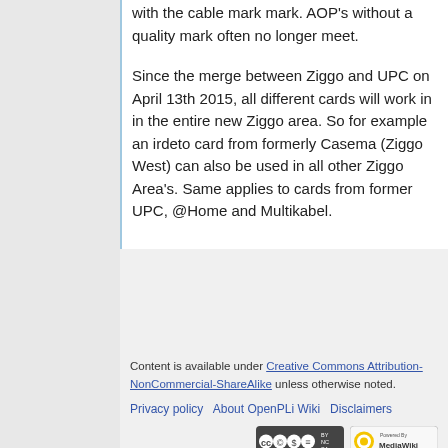with the cable mark mark. AOP's without a quality mark often no longer meet.
Since the merge between Ziggo and UPC on April 13th 2015, all different cards will work in in the entire new Ziggo area. So for example an irdeto card from formerly Casema (Ziggo West) can also be used in all other Ziggo Area's. Same applies to cards from former UPC, @Home and Multikabel.
Content is available under Creative Commons Attribution-NonCommercial-ShareAlike unless otherwise noted.
Privacy policy · About OpenPLi Wiki · Disclaimers